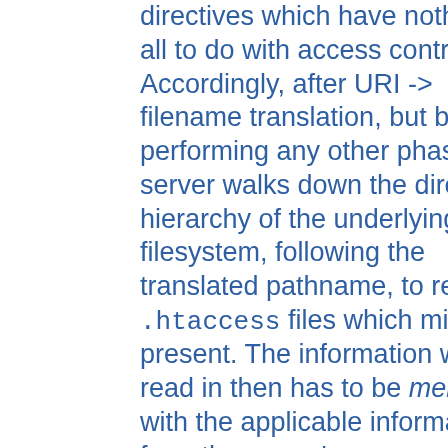directives which have nothing at all to do with access control. Accordingly, after URI -> filename translation, but before performing any other phase, the server walks down the directory hierarchy of the underlying filesystem, following the translated pathname, to read any .htaccess files which might be present. The information which is read in then has to be merged with the applicable information from the server's own config files (either from the <Directory> sections in access.conf, or from defaults in srm.conf, which actually behaves for most purposes almost